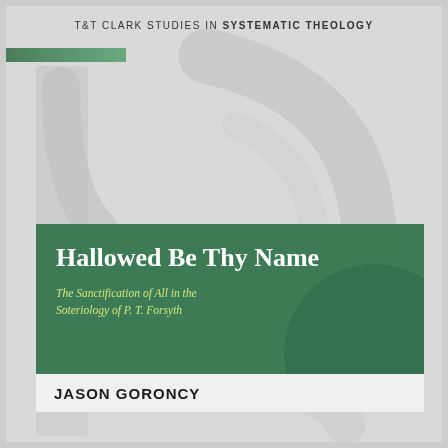T&T CLARK STUDIES IN SYSTEMATIC THEOLOGY
[Figure (illustration): Book cover with large decorative grey letter forms in background, green stripe accent top-left]
Hallowed Be Thy Name
The Sanctification of All in the Soteriology of P. T. Forsyth
JASON GORONCY